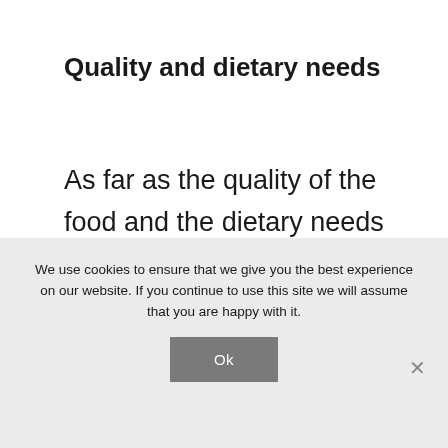Quality and dietary needs
As far as the quality of the food and the dietary needs of your collie, the general guidelines are this. You should try to find foods that are high in real proteins and healthy fats.
You should also try to get food that is
We use cookies to ensure that we give you the best experience on our website. If you continue to use this site we will assume that you are happy with it.